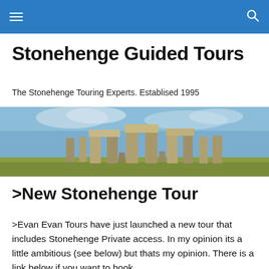Stonehenge Guided Tours — navigation bar
Stonehenge Guided Tours
The Stonehenge Touring Experts. Establised 1995
[Figure (photo): Wide panoramic photo of Stonehenge standing stones against a blue sky with green fields in the foreground.]
>New Stonehenge Tour
>Evan Evan Tours have just launched a new tour that includes Stonehenge Private access. In my opinion its a little ambitious (see below) but thats my opinion. There is a link below if you want to book